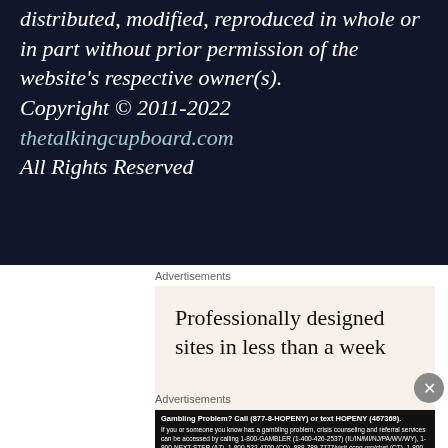distributed, modified, reproduced in whole or in part without prior permission of the website's respective owner(s). Copyright © 2011-2022 thetalkingcupboard.com All Rights Reserved
Advertisements
[Figure (infographic): Advertisement banner with cream background reading 'Professionally designed sites in less than a week']
Advertisements
Gambling Problem? Call (877-8-HOPENY) or text HOPENY (467369). If you or someone you know has a gambling problem, crisis counseling and referral services can be accessed by calling 1-800-GAMBLER (1-400-426-2537) (IL/IN/MI/NJ/PA/WV/WY), 1-800-NEXT STEP (AZ), 1-800-522-4700 (CO), 888-789-7777/visit ccpg.org/chat (CT), 1-800-BETS OFF (IA), 1-877-770-STOP (7887) (LA), call/text TN REDLINE 1-800-889-9789 (TN), or 1-888-532-3500 (VA).